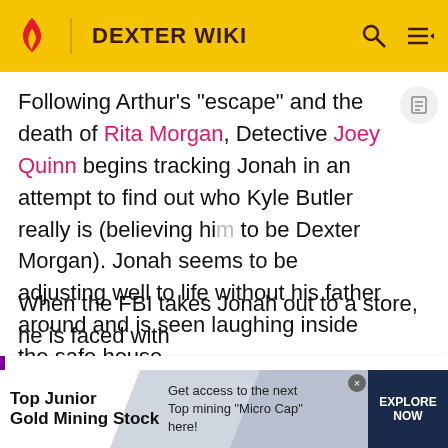DEXTER WIKI
Following Arthur's "escape" and the death of Rita Morgan, Detective Joey Quinn begins tracking Jonah in an attempt to find out who Kyle Butler really is (believing him to be Dexter Morgan). Jonah seems to be adjusting well to life without his father around and is seen laughing inside the safe house,
When the FBI takes Jonah out to a store, he is faced with Joey Quinn who asks him about Kyle Butler. However,
Click here to take a fun quiz about the original run of Dexter!
shown a picture of the man he knows as Kyle, possibly in
[Figure (infographic): Advertisement banner for Top Junior Gold Mining Stock with EXPLORE NOW button]